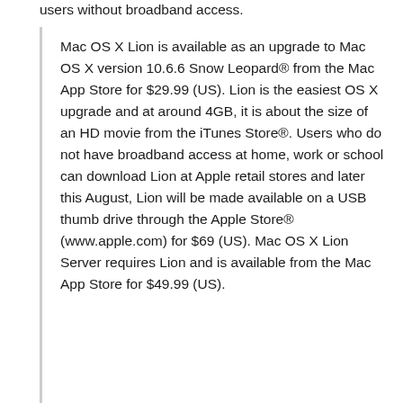users without broadband access.
Mac OS X Lion is available as an upgrade to Mac OS X version 10.6.6 Snow Leopard® from the Mac App Store for $29.99 (US). Lion is the easiest OS X upgrade and at around 4GB, it is about the size of an HD movie from the iTunes Store®. Users who do not have broadband access at home, work or school can download Lion at Apple retail stores and later this August, Lion will be made available on a USB thumb drive through the Apple Store® (www.apple.com) for $69 (US). Mac OS X Lion Server requires Lion and is available from the Mac App Store for $49.99 (US).